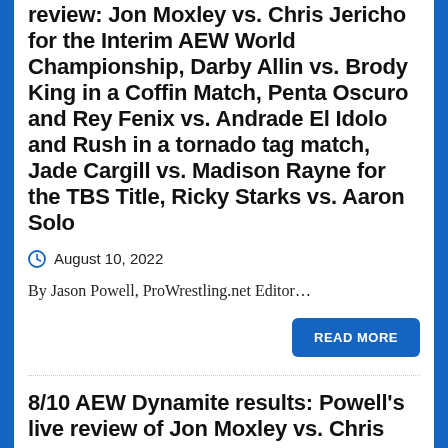review: Jon Moxley vs. Chris Jericho for the Interim AEW World Championship, Darby Allin vs. Brody King in a Coffin Match, Penta Oscuro and Rey Fenix vs. Andrade El Idolo and Rush in a tornado tag match, Jade Cargill vs. Madison Rayne for the TBS Title, Ricky Starks vs. Aaron Solo
August 10, 2022
By Jason Powell, ProWrestling.net Editor...
READ MORE
8/10 AEW Dynamite results: Powell's live review of Jon Moxley vs. Chris